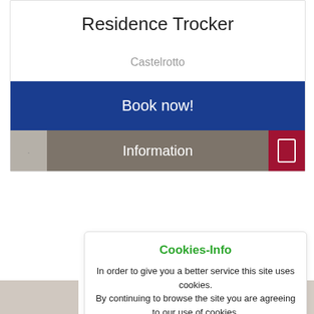Residence Trocker
Castelrotto
Book now!
Information
Cookies-Info
In order to give you a better service this site uses cookies.
By continuing to browse the site you are agreeing to our use of cookies.